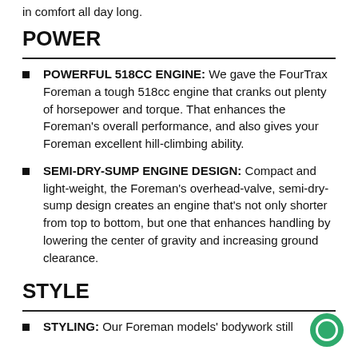in comfort all day long.
POWER
POWERFUL 518CC ENGINE: We gave the FourTrax Foreman a tough 518cc engine that cranks out plenty of horsepower and torque. That enhances the Foreman's overall performance, and also gives your Foreman excellent hill-climbing ability.
SEMI-DRY-SUMP ENGINE DESIGN: Compact and light-weight, the Foreman's overhead-valve, semi-dry-sump design creates an engine that's not only shorter from top to bottom, but one that enhances handling by lowering the center of gravity and increasing ground clearance.
STYLE
STYLING: Our Foreman models' bodywork still